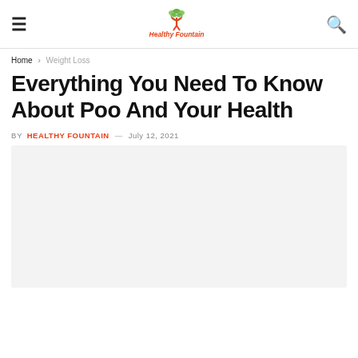Healthy Fountain — navigation header with hamburger menu and search icon
Home > Weight Loss
Everything You Need To Know About Poo And Your Health
BY HEALTHY FOUNTAIN — July 12, 2021
[Figure (photo): Light gray placeholder image area for article photo]